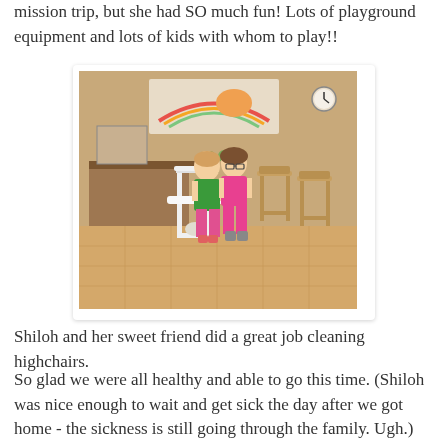mission trip, but she had SO much fun! Lots of playground equipment and lots of kids with whom to play!!
[Figure (photo): Two girls standing in a room, one wearing a green shirt and pink shorts, the other wearing a pink top and pink shorts. A white high chair is visible to their left, and several wooden chairs are to their right. Decorations including a rainbow banner are on the wall behind them.]
Shiloh and her sweet friend did a great job cleaning highchairs.
So glad we were all healthy and able to go this time. (Shiloh was nice enough to wait and get sick the day after we got home - the sickness is still going through the family. Ugh.)
Thankful for the Lord's grace and mercy toward me -